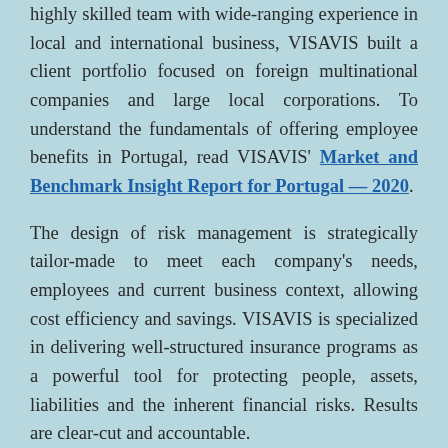highly skilled team with wide-ranging experience in local and international business, VISAVIS built a client portfolio focused on foreign multinational companies and large local corporations. To understand the fundamentals of offering employee benefits in Portugal, read VISAVIS' Market and Benchmark Insight Report for Portugal — 2020.
The design of risk management is strategically tailor-made to meet each company's needs, employees and current business context, allowing cost efficiency and savings. VISAVIS is specialized in delivering well-structured insurance programs as a powerful tool for protecting people, assets, liabilities and the inherent financial risks. Results are clear-cut and accountable.
The main goal is to respond fast and effectively to